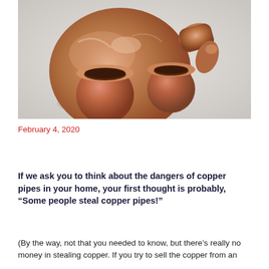[Figure (photo): Copper pipe fittings — a copper disc and two copper pipe end caps arranged on a light gray surface, photographed from above.]
February 4, 2020
If we ask you to think about the dangers of copper pipes in your home, your first thought is probably, “Some people steal copper pipes!”
(By the way, not that you needed to know, but there’s really no money in stealing copper. If you try to sell the copper from an